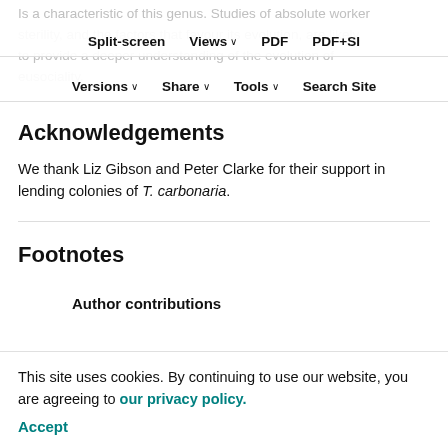Is a characteristic of this genus. Studies of absolute worker sterility, and the factors that favour its evolution, are likely to provide a deeper understanding of the evolution of eusociality.
Split-screen | Views | PDF | PDF+SI | Versions | Share | Tools | Search Site
Acknowledgements
We thank Liz Gibson and Peter Clarke for their support in lending colonies of T. carbonaria.
Footnotes
Author contributions
Conceptualization: F.G.B.B., I.R.; Methodology: F.G.B.B., I.R.; Validation: I.R.; Formal analysis: F.G.B.B., I.R.; Investigation: F.G.B.B.; Writing – original draft: F.G.B.B., I.R.; Writing – review & editing: F.G.B.B., R.G., T.L., I.R.;
This site uses cookies. By continuing to use our website, you are agreeing to our privacy policy.
Accept